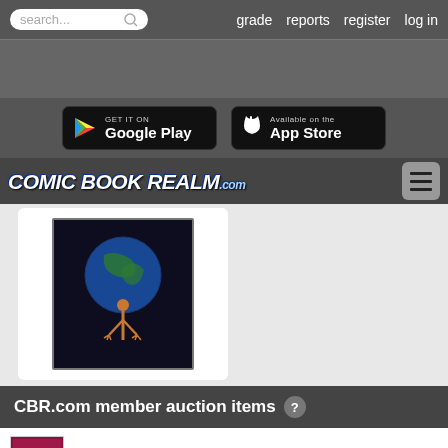search... | grade | reports | register | log in
[Figure (screenshot): Dark grey advertisement banner area]
[Figure (screenshot): Get it on Google Play and Available on the App Store buttons on dark background]
[Figure (logo): Comic Book Realm .com logo in stylized white text with hamburger menu icon]
[Figure (photo): Comic book cover showing a figure holding Earth, on a dark background]
CBR.com member auction items ?
Invincible Iron Man 5 Doctor Doom V 3 Ave
$6.99 | Ends:
Blackhawk #189, 1963, Nice, The Super-ca
$4.99 | Ends: